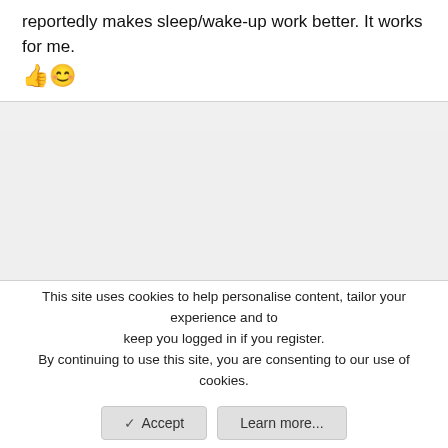reportedly makes sleep/wake-up work better. It works for me. 👍😊
This site uses cookies to help personalise content, tailor your experience and to keep you logged in if you register.
By continuing to use this site, you are consenting to our use of cookies.